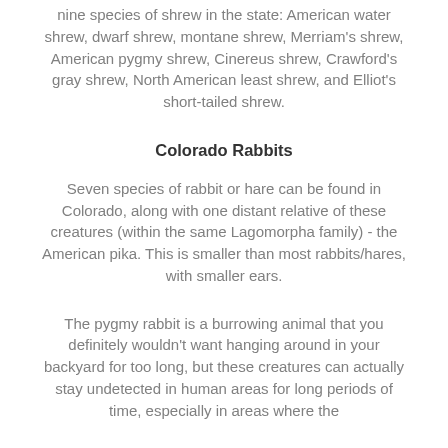nine species of shrew in the state: American water shrew, dwarf shrew, montane shrew, Merriam's shrew, American pygmy shrew, Cinereus shrew, Crawford's gray shrew, North American least shrew, and Elliot's short-tailed shrew.
Colorado Rabbits
Seven species of rabbit or hare can be found in Colorado, along with one distant relative of these creatures (within the same Lagomorpha family) - the American pika. This is smaller than most rabbits/hares, with smaller ears.
The pygmy rabbit is a burrowing animal that you definitely wouldn't want hanging around in your backyard for too long, but these creatures can actually stay undetected in human areas for long periods of time, especially in areas where the